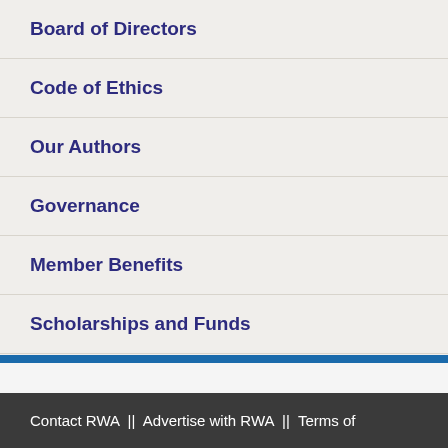Board of Directors
Code of Ethics
Our Authors
Governance
Member Benefits
Scholarships and Funds
Staff
Contact RWA  ||  Advertise with RWA  ||  Terms of